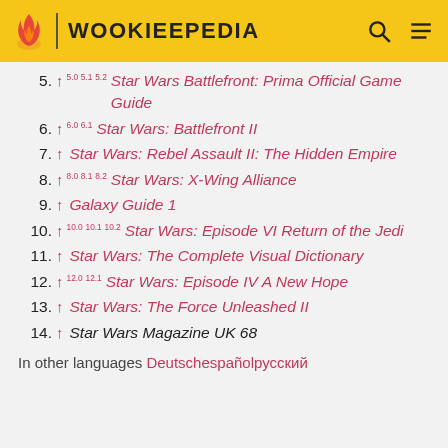WOOKIEEPEDIA
5. ↑ 5.0 5.1 5.2 Star Wars Battlefront: Prima Official Game Guide
6. ↑ 6.0 6.1 Star Wars: Battlefront II
7. ↑ Star Wars: Rebel Assault II: The Hidden Empire
8. ↑ 8.0 8.1 8.2 Star Wars: X-Wing Alliance
9. ↑ Galaxy Guide 1
10. ↑ 10.0 10.1 10.2 Star Wars: Episode VI Return of the Jedi
11. ↑ Star Wars: The Complete Visual Dictionary
12. ↑ 12.0 12.1 Star Wars: Episode IV A New Hope
13. ↑ Star Wars: The Force Unleashed II
14. ↑ Star Wars Magazine UK 68
In other languages Deutschesрañolрусский